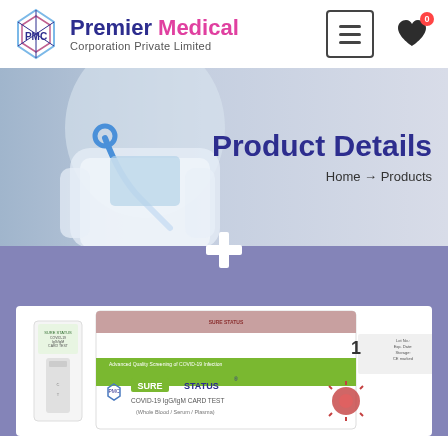[Figure (logo): Premier Medical Corporation Private Limited logo with crystal/diamond shape]
Premier Medical Corporation Private Limited
[Figure (screenshot): Banner showing a doctor in white coat with stethoscope]
Product Details
Home → Products
[Figure (photo): Sure Status COVID-19 IgG/IgM Card Test product box and test strip]